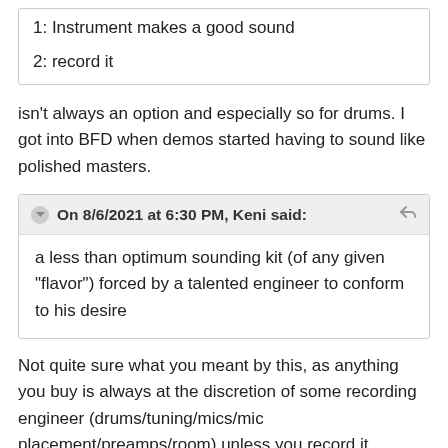1:  Instrument makes a good sound
2: record it
isn't always an option and especially so for drums. I got into BFD when demos started having to sound like polished masters.
On 8/6/2021 at 6:30 PM, Keni said:
a less than optimum sounding kit (of any given "flavor") forced by a talented engineer to conform to his desire
Not quite sure what you meant by this, as anything you buy is always at the discretion of some recording engineer (drums/tuning/mics/mic placement/preamps/room) unless you record it yourself.